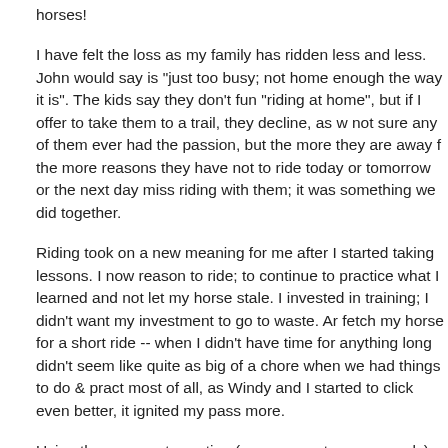horses!
I have felt the loss as my family has ridden less and less. John would say is "just too busy; not home enough the way it is". The kids say they don't fun "riding at home", but if I offer to take them to a trail, they decline, as w not sure any of them ever had the passion, but the more they are away f the more reasons they have not to ride today or tomorrow or the next day miss riding with them; it was something we did together.
Riding took on a new meaning for me after I started taking lessons. I now reason to ride; to continue to practice what I learned and not let my horse stale. I invested in training; I didn't want my investment to go to waste. Ar fetch my horse for a short ride -- when I didn't have time for anything long didn't seem like quite as big of a chore when we had things to do & pract most of all, as Windy and I started to click even better, it ignited my pass more.
Using the comments section (you can post anonymously), do you ride as as you did when you first got your horse? If yes, what kind of riding do yo and what keeps you interested? Or if you ride less now than you did befo why? What do you think changed things for you? Are you as satisfied jus "being" with horses as you would be actually riding? (I've always said if I ride any longer, I would still want horses in my life!) Or do you rarely see horses anymore and if so, again, what changed?